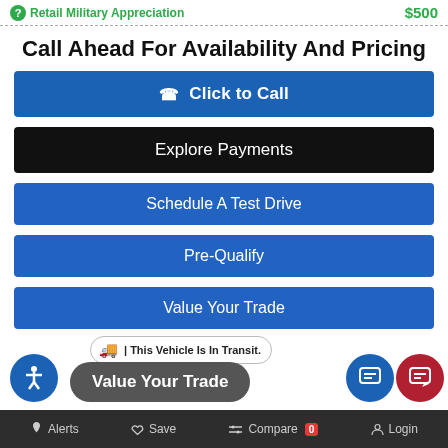Retail Military Appreciation   $500
Call Ahead For Availability And Pricing
Click to Call
Explore Payments
Schedule A Test Drive
Pre-Qualify
Value Your Trade
This Vehicle Is In Transit.
Value Your Trade
Alerts   Save   Compare 0   Login